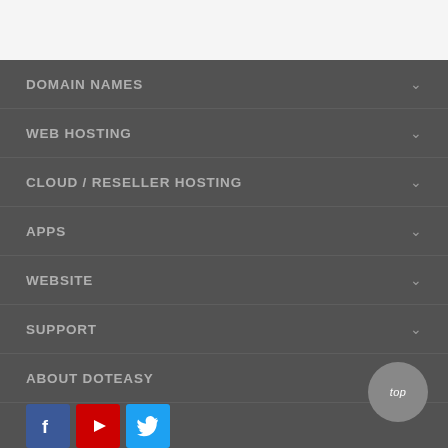DOMAIN NAMES
WEB HOSTING
CLOUD / RESELLER HOSTING
APPS
WEBSITE
SUPPORT
ABOUT DOTEASY
[Figure (illustration): Social media icons: Facebook (blue), YouTube (red), Twitter (cyan). Top button (grey circle with 'top').]